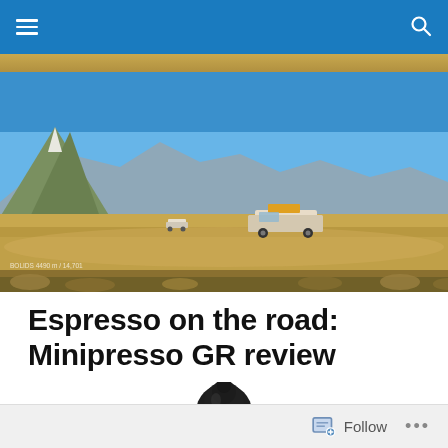Navigation bar with hamburger menu and search icon
[Figure (photo): Desert landscape with mountains in background, two vehicles on a flat sandy plain under clear blue sky. GPS coordinates visible in lower left: BOLIDS 4490 m / 14701]
Espresso on the road: Minipresso GR review
[Figure (photo): Partial top portion of a dark-colored Minipresso GR product, black cylindrical device]
Follow  •••